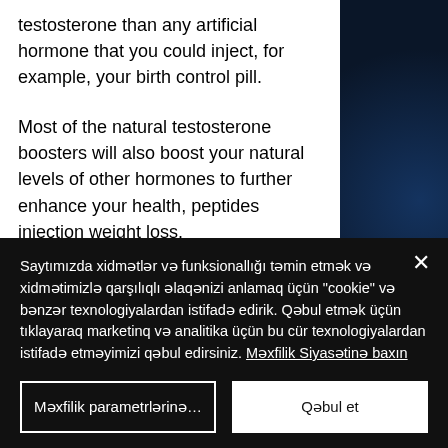testosterone than any artificial hormone that you could inject, for example, your birth control pill.

Most of the natural testosterone boosters will also boost your natural levels of other hormones to further enhance your health, peptides injection weight loss.

If you currently take your T to be the best you can be you want to try some of the options below:
Saytımızda xidmətlər və funksionallığı təmin etmək və xidmətimizlə qarşılıqlı əlaqənizi anlamaq üçün "cookie" və bənzər texnologiyalardan istifadə edirik. Qəbul etmək üçün tıklayaraq marketinq və analitika üçün bu cür texnologiyalardan istifadə etməyimizi qəbul edirsiniz. Məxfilik Siyasətinə baxın
Məxfilik parametrlərinə…
Qəbul et